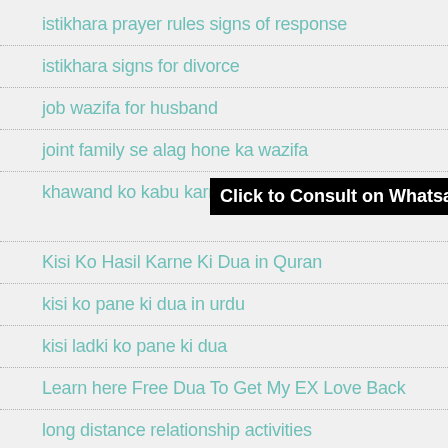istikhara prayer rules signs of response
istikhara signs for divorce
job wazifa for husband
joint family se alag hone ka wazifa
khawand ko kabu karne ka wazifa
[Figure (other): Black banner with white bold text: Click to Consult on Whatsapp]
Kisi Ko Hasil Karne Ki Dua in Quran
kisi ko pane ki dua in urdu
kisi ladki ko pane ki dua
Learn here Free Dua To Get My EX Love Back
long distance relationship activities